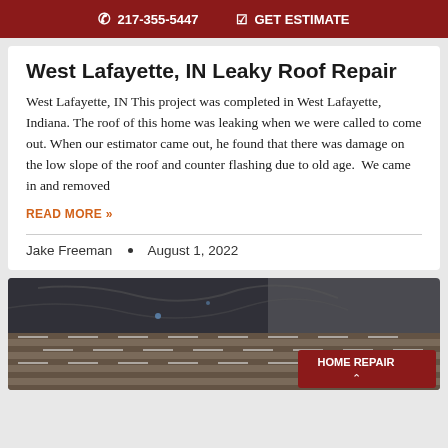217-355-5447  GET ESTIMATE
West Lafayette, IN Leaky Roof Repair
West Lafayette, IN This project was completed in West Lafayette, Indiana. The roof of this home was leaking when we were called to come out. When our estimator came out, he found that there was damage on the low slope of the roof and counter flashing due to old age.  We came in and removed
READ MORE »
Jake Freeman  •  August 1, 2022
[Figure (photo): Aerial view of roofing shingles being installed, showing roof materials and underlayment. A dark red badge with 'HOME REPAIR' text and an upward chevron is overlaid on the bottom right corner.]